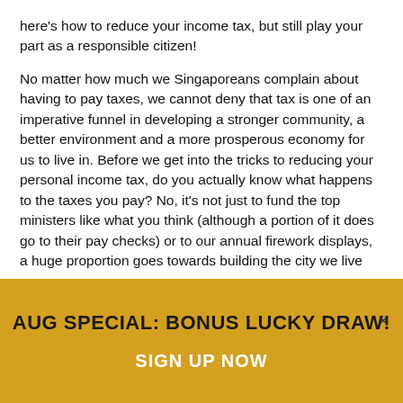here's how to reduce your income tax, but still play your part as a responsible citizen!
No matter how much we Singaporeans complain about having to pay taxes, we cannot deny that tax is one of an imperative funnel in developing a stronger community, a better environment and a more prosperous economy for us to live in. Before we get into the tricks to reducing your personal income tax, do you actually know what happens to the taxes you pay? No, it's not just to fund the top ministers like what you think (although a portion of it does go to their pay checks) or to our annual firework displays, a huge proportion goes towards building the city we live
AUG SPECIAL: BONUS LUCKY DRAW!
SIGN UP NOW